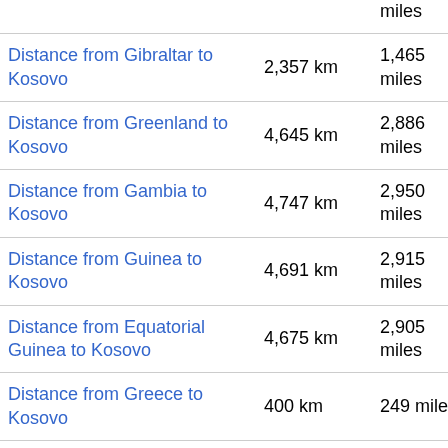|  |  | miles |
| --- | --- | --- |
| Distance from Gibraltar to Kosovo | 2,357 km | 1,465 miles |
| Distance from Greenland to Kosovo | 4,645 km | 2,886 miles |
| Distance from Gambia to Kosovo | 4,747 km | 2,950 miles |
| Distance from Guinea to Kosovo | 4,691 km | 2,915 miles |
| Distance from Equatorial Guinea to Kosovo | 4,675 km | 2,905 miles |
| Distance from Greece to Kosovo | 400 km | 249 miles |
| Distance from South Georgia and the South Sandwich Islands to Kosovo | 12,086 km | 7,510 miles |
| Distance from Guam to Kosovo | 11,564 | 7,186 |